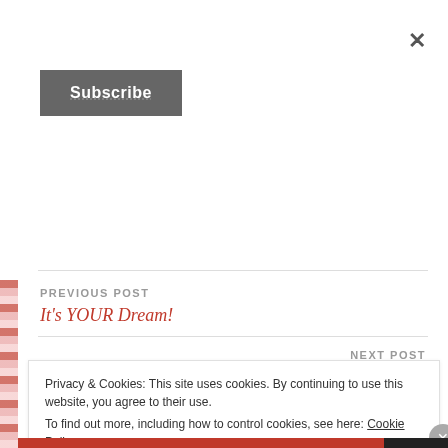×
Subscribe
PREVIOUS POST
It's YOUR Dream!
NEXT POST
I'm Alive (Life Sounds Like) – YouTube – Michael Franti & Spearhead
Privacy & Cookies: This site uses cookies. By continuing to use this website, you agree to their use. To find out more, including how to control cookies, see here: Cookie Policy
Close and accept